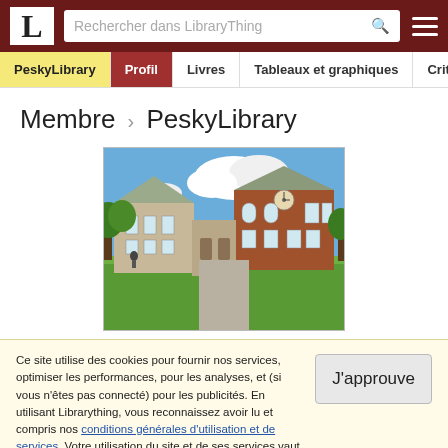L — Rechercher dans LibraryThing
PeskyLibrary | Profil | Livres | Tableaux et graphiques | Crit...
Membre › PeskyLibrary
[Figure (photo): A two-story brick library building with large arched windows, a clock on the facade, surrounded by green lawn and trees under a partly cloudy blue sky.]
Ce site utilise des cookies pour fournir nos services, optimiser les performances, pour les analyses, et (si vous n'êtes pas connecté) pour les publicités. En utilisant Librarything, vous reconnaissez avoir lu et compris nos conditions générales d'utilisation et de services. Votre utilisation du site et de ses services vaut acceptation de ces conditions et termes.
J'approuve